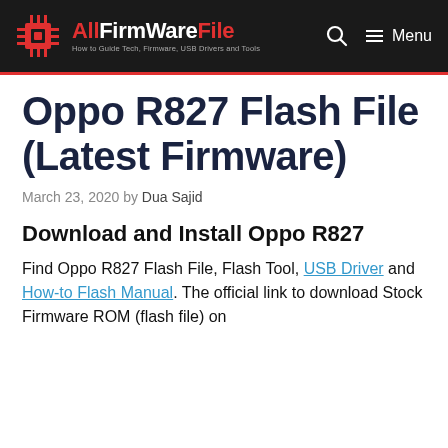AllFirmWareFile — How to Guide Tech, Firmware, USB Drivers and Tools
Oppo R827 Flash File (Latest Firmware)
March 23, 2020 by Dua Sajid
Download and Install Oppo R827
Find Oppo R827 Flash File, Flash Tool, USB Driver and How-to Flash Manual. The official link to download Stock Firmware ROM (flash file) on